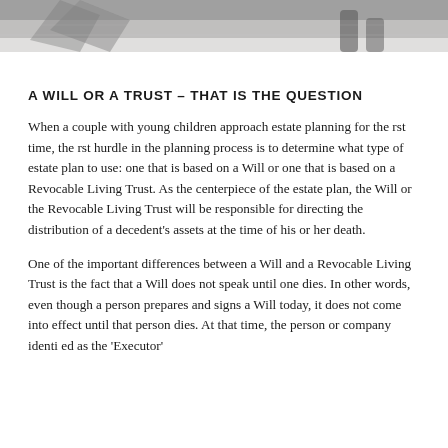[Figure (photo): Partial photo at top of page showing what appears to be a person's lower body or legs, in grayscale/muted tones]
A WILL OR A TRUST – THAT IS THE QUESTION
When a couple with young children approach estate planning for the rst time, the rst hurdle in the planning process is to determine what type of estate plan to use: one that is based on a Will or one that is based on a Revocable Living Trust. As the centerpiece of the estate plan, the Will or the Revocable Living Trust will be responsible for directing the distribution of a decedent's assets at the time of his or her death.
One of the important differences between a Will and a Revocable Living Trust is the fact that a Will does not speak until one dies. In other words, even though a person prepares and signs a Will today, it does not come into effect until that person dies. At that time, the person or company identi ed as the 'Executor'